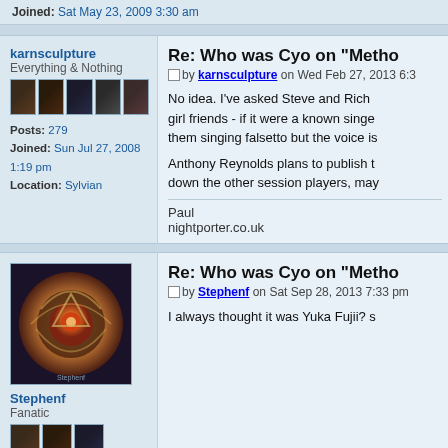Joined: Sat May 23, 2009 3:30 am
Re: Who was Cyo on "Metho..."
by karnsculpture on Wed Feb 27, 2013 6:3...
No idea. I've asked Steve and Rich ... girl friends - if it were a known singe... them singing falsetto but the voice is...
Anthony Reynolds plans to publish t... down the other session players, may...
Paul
nightporter.co.uk
Re: Who was Cyo on "Metho..."
by Stephenf on Sat Sep 28, 2013 7:33 pm
I always thought it was Yuka Fujii? s...